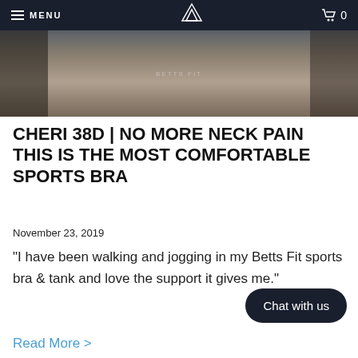MENU  [logo]  [cart] 0
[Figure (photo): Partial photo of a person wearing a Betts Fit sports bra and shorts, cropped at the torso level]
CHERI 38D | NO MORE NECK PAIN THIS IS THE MOST COMFORTABLE SPORTS BRA
November 23, 2019
"I have been walking and jogging in my Betts Fit sports bra & tank and love the support it gives me."
Chat with us
Read More >